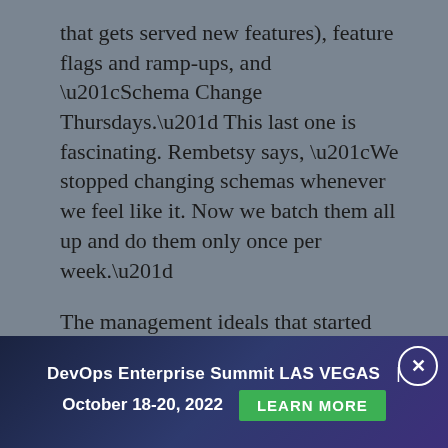that gets served new features), feature flags and ramp-ups, and “Schema Change Thursdays.” This last one is fascinating. Rembetsy says, “We stopped changing schemas whenever we feel like it. Now we batch them all up and do them only once per week.”
The management ideals that started getting formed included:
Accept failures but don’t lower standards. Failures happen, and it’s best
DevOps Enterprise Summit LAS VEGAS | October 18-20, 2022   LEARN MORE